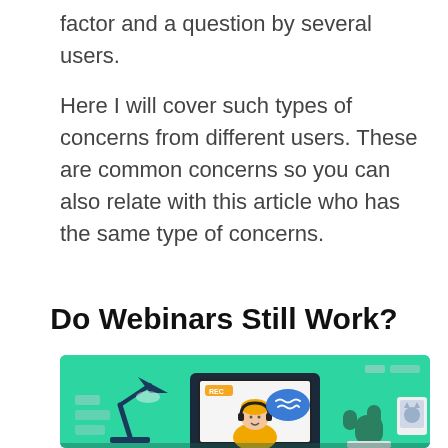factor and a question by several users.
Here I will cover such types of concerns from different users. These are common concerns so you can also relate with this article who has the same type of concerns.
Do Webinars Still Work?
[Figure (illustration): Illustration of a person wearing headphones sitting at a laptop showing a video call with a speech bubble, a desk lamp on the left, and a cactus plant and framed picture on the right, on a teal/green background.]